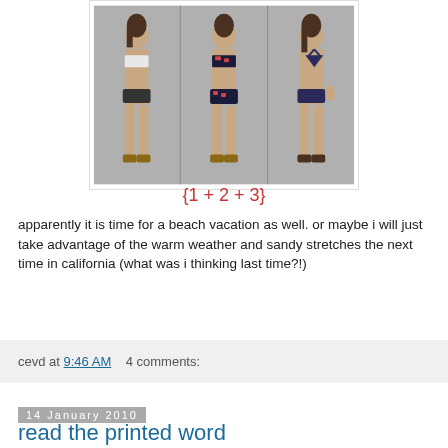[Figure (photo): Three female models in bikinis against a gray background, showing different bikini styles]
{1 + 2 + 3}
apparently it is time for a beach vacation as well. or maybe i will just take advantage of the warm weather and sandy stretches the next time in california (what was i thinking last time?!)
cevd at 9:46 AM    4 comments:
14 January 2010
read the printed word